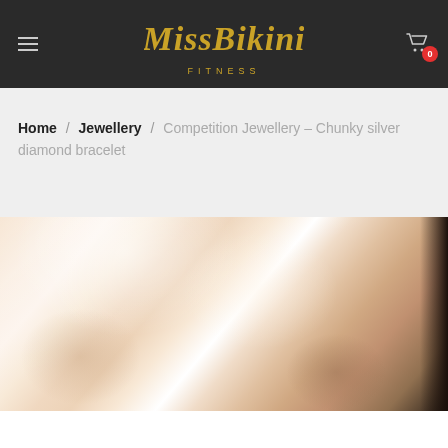Miss Bikini Fitness — navigation header with hamburger menu, logo, and cart icon
Home / Jewellery / Competition Jewellery – Chunky silver diamond bracelet
[Figure (photo): Close-up photo of a shiny, draped fabric in soft peach/champagne color with silk-like sheen, a dark strap or cord visible on the right edge]